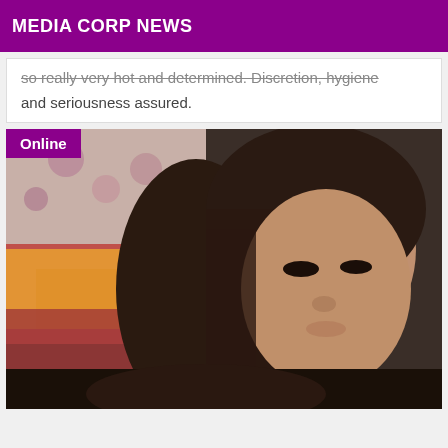MEDIA CORP NEWS
so really very hot and determined. Discretion, hygiene and seriousness assured.
[Figure (photo): Close-up photo of a young woman with long brown hair looking downward, in a room with floral wallpaper and colorful bedding. An 'Online' badge appears in the top-left corner.]